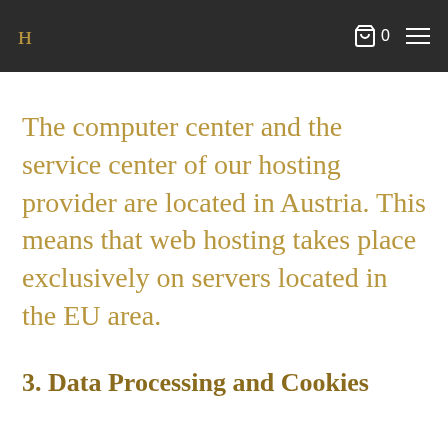ψ  0  ≡
The computer center and the service center of our hosting provider are located in Austria. This means that web hosting takes place exclusively on servers located in the EU area.
3. Data Processing and Cookies